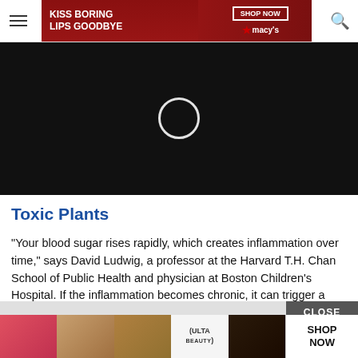[Figure (screenshot): Website navigation bar with hamburger menu icon on left and search icon on right]
[Figure (screenshot): Macy's advertisement banner: 'KISS BORING LIPS GOODBYE' with woman's face and red lips, SHOP NOW button and Macy's star logo]
[Figure (screenshot): Dark video player area with white circular play button overlay]
Toxic Plants
“Your blood sugar rises rapidly, which creates inflammation over time,” says David Ludwig, a professor at the Harvard T.H. Chan School of Public Health and physician at Boston Children’s Hospital. If the inflammation becomes chronic, it can trigger a cascade of changes in the body that may eventually lead to chronic disease.
[Figure (screenshot): ULTA beauty advertisement banner at the bottom with cosmetic images and SHOP NOW button, with a CLOSE button overlay]